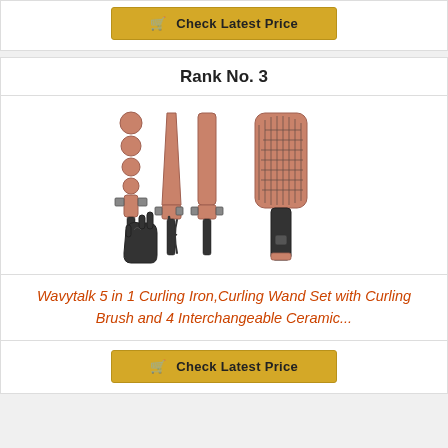[Figure (other): Check Latest Price button with shopping cart icon at top]
Rank No. 3
[Figure (photo): Wavytalk 5 in 1 curling iron set showing 4 interchangeable ceramic barrel attachments (bubble wand, tapered wand, straight barrel, round brush) plus a heat glove and hair clip, all in rose gold and black]
Wavytalk 5 in 1 Curling Iron,Curling Wand Set with Curling Brush and 4 Interchangeable Ceramic...
[Figure (other): Check Latest Price button with shopping cart icon at bottom]